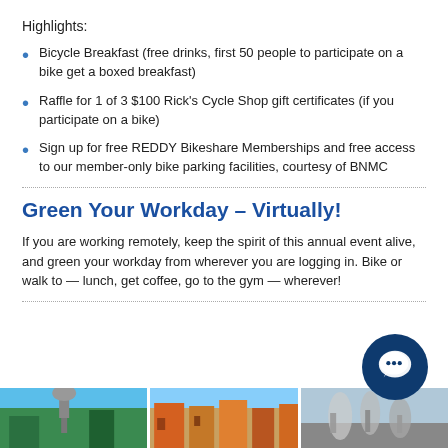Highlights:
Bicycle Breakfast (free drinks, first 50 people to participate on a bike get a boxed breakfast)
Raffle for 1 of 3 $100 Rick's Cycle Shop gift certificates (if you participate on a bike)
Sign up for free REDDY Bikeshare Memberships and free access to our member-only bike parking facilities, courtesy of BNMC
Green Your Workday – Virtually!
If you are working remotely, keep the spirit of this annual event alive, and green your workday from wherever you are logging in. Bike or walk to — lunch, get coffee, go to the gym — wherever!
[Figure (photo): Three photos arranged side by side at the bottom of the page: a tower/urban scene, colorful buildings, and people walking/running outdoors]